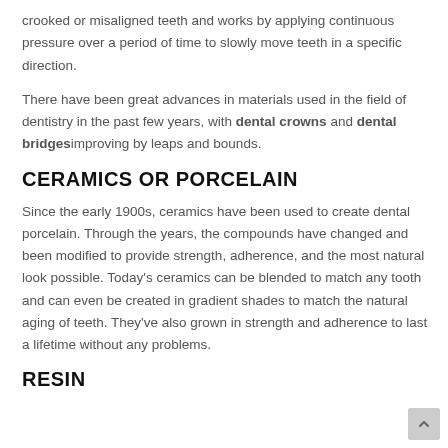crooked or misaligned teeth and works by applying continuous pressure over a period of time to slowly move teeth in a specific direction.
There have been great advances in materials used in the field of dentistry in the past few years, with dental crowns and dental bridges improving by leaps and bounds.
CERAMICS OR PORCELAIN
Since the early 1900s, ceramics have been used to create dental porcelain. Through the years, the compounds have changed and been modified to provide strength, adherence, and the most natural look possible. Today's ceramics can be blended to match any tooth and can even be created in gradient shades to match the natural aging of teeth. They've also grown in strength and adherence to last a lifetime without any problems.
RESIN